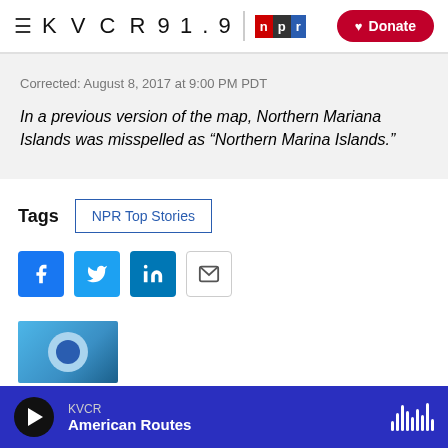KVCR 91.9 npr | Donate
Corrected: August 8, 2017 at 9:00 PM PDT
In a previous version of the map, Northern Mariana Islands was misspelled as “Northern Marina Islands.”
Tags  NPR Top Stories
[Figure (other): Social sharing buttons: Facebook, Twitter, LinkedIn, Email]
[Figure (photo): Partial thumbnail image]
KVCR  American Routes (audio player bar)